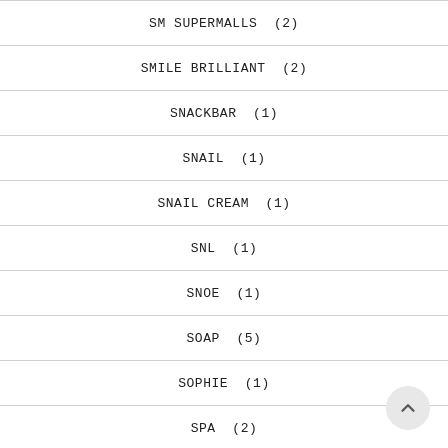SM SUPERMALLS  (2)
SMILE BRILLIANT  (2)
SNACKBAR  (1)
SNAIL  (1)
SNAIL CREAM  (1)
SNL  (1)
SNOE  (1)
SOAP  (5)
SOPHIE  (1)
SPA  (2)